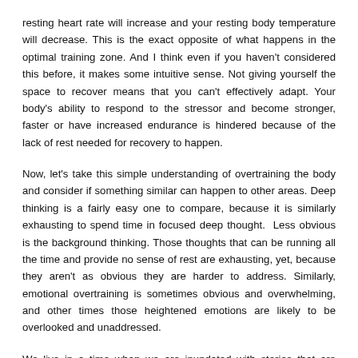resting heart rate will increase and your resting body temperature will decrease. This is the exact opposite of what happens in the optimal training zone. And I think even if you haven't considered this before, it makes some intuitive sense. Not giving yourself the space to recover means that you can't effectively adapt. Your body's ability to respond to the stressor and become stronger, faster or have increased endurance is hindered because of the lack of rest needed for recovery to happen.
Now, let's take this simple understanding of overtraining the body and consider if something similar can happen to other areas. Deep thinking is a fairly easy one to compare, because it is similarly exhausting to spend time in focused deep thought. Less obvious is the background thinking. Those thoughts that can be running all the time and provide no sense of rest are exhausting, yet, because they aren't as obvious they are harder to address. Similarly, emotional overtraining is sometimes obvious and overwhelming, and other times those heightened emotions are likely to be overlooked and unaddressed.
We live in a time when we are inundated with stories that are specifically designed to elicit an emotional reaction. And as hard as we may try to not